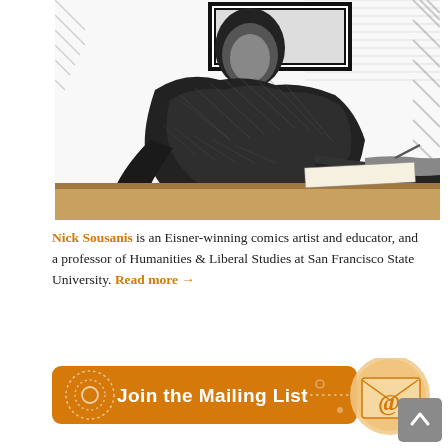[Figure (illustration): Black-and-white pen/ink comic-style illustration of a person (Nick Sousanis) sitting at a desk, drawing or writing, shown from the side. A framed picture or chalkboard is on the wall behind them. The style is cross-hatched with strong contrast.]
Nick Sousanis is an Eisner-winning comics artist and educator, and a professor of Humanities & Liberal Studies at San Francisco State University. Read more →
[Figure (infographic): Orange rounded-rectangle button with dotted-circle icon on the left and text 'Join the Mailing List' with dotted line and small circles. An envelope icon with '@' symbol appears in a light orange circle to the right of the button.]